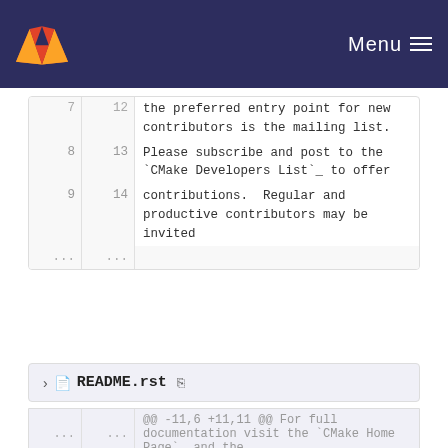GitLab — Menu
| old | new | content |
| --- | --- | --- |
| 7 | 12 | the preferred entry point for new contributors is the mailing list. |
| 8 | 13 | Please subscribe and post to the `CMake Developers List`_ to offer |
| 9 | 14 | contributions.  Regular and productive contributors may be invited |
| ... | ... |  |
README.rst
| old | new | content |
| --- | --- | --- |
| ... | ... | @@ -11,6 +11,11 @@ For full documentation visit the `CMake Home Page`_ and the |
| 11 | 11 | .. _`CMake Home Page`: http://www.cmake.org |
| 12 | 12 | .. _`CMake Documentation Page`: http://www.cmake.org/cmake/help/documentation.html |
| 13 | 13 |  |
| 14 |  | + CMake is maintained by `Kitware |